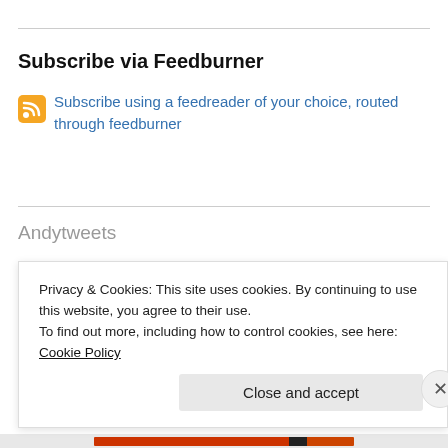Subscribe via Feedburner
Subscribe using a feedreader of your choice, routed through feedburner
Andytweets
@markmccaughrean @apolitosb @AstroMikeMerri After years of telling students it was not cheye squared but keye squar...
twitter.com/i/web/status/1   9 hours ago
Privacy & Cookies: This site uses cookies. By continuing to use this website, you agree to their use.
To find out more, including how to control cookies, see here: Cookie Policy
Close and accept